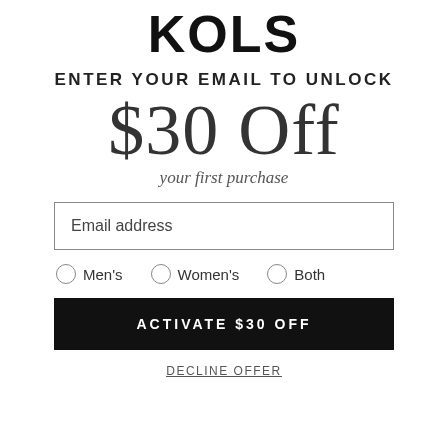KOLS
ENTER YOUR EMAIL TO UNLOCK
$30 Off
your first purchase
Email address
Men's
Women's
Both
ACTIVATE $30 OFF
DECLINE OFFER